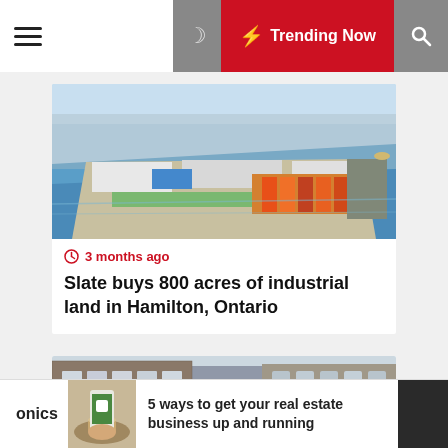☰  🌙  ⚡ Trending Now  🔍
[Figure (photo): Aerial rendering of a large industrial port facility with warehouses, rail yards, and shipping containers along a waterfront]
3 months ago
Slate buys 800 acres of industrial land in Hamilton, Ontario
[Figure (photo): Street-level photo of historic commercial/industrial brick buildings]
onics
[Figure (photo): Hand holding a smartphone with a real estate app, coffee cup in background]
5 ways to get your real estate business up and running